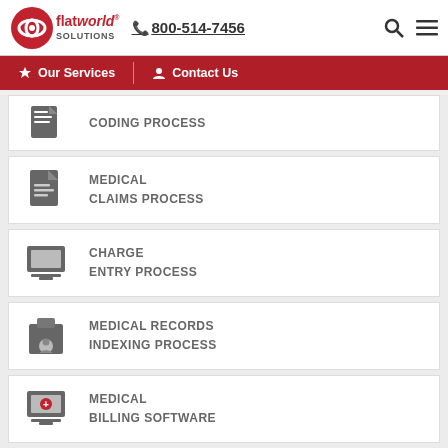flatworld solutions | 800-514-7456
Our Services | Contact Us
CODING PROCESS
MEDICAL CLAIMS PROCESS
CHARGE ENTRY PROCESS
MEDICAL RECORDS INDEXING PROCESS
MEDICAL BILLING SOFTWARE